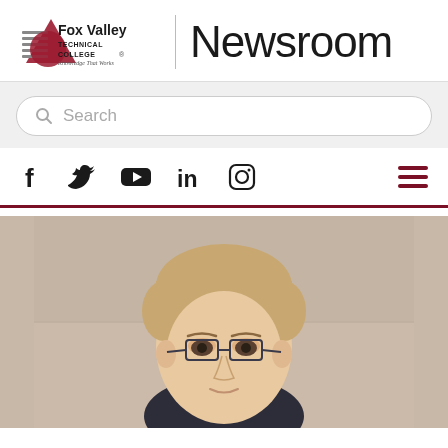[Figure (logo): Fox Valley Technical College logo with mountain/triangle graphic and text 'Fox Valley Technical College - Knowledge That Works']
Newsroom
Search
[Figure (screenshot): Social media icons: Facebook (f), Twitter (bird), YouTube (play button), LinkedIn (in), Instagram (camera); hamburger menu on right]
[Figure (photo): Portrait photo of a young male student with short blonde hair and glasses, wearing a dark shirt, photographed against a beige wall background]